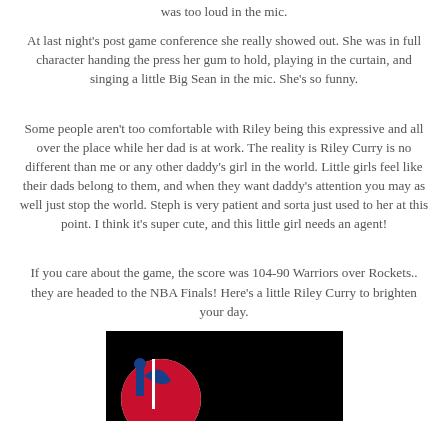was too loud in the mic.
At last night's post game conference she really showed out. She was in full character handing the press her gum to hold, playing in the curtain, and singing a little Big Sean in the mic. She's so funny.
Some people aren't too comfortable with Riley being this expressive and all over the place while her dad is at work. The reality is Riley Curry is no different than me or any other daddy's girl in the world. Little girls feel like their dads belong to them, and when they want daddy's attention you may as well just stop the world. Steph is very patient and sorta just used to her at this point. I think it's super cute, and this little girl needs an agent!
If you care about the game, the score was 104-90 Warriors over Rockets.. they are headed to the NBA Finals! Here's a little Riley Curry to brighten your day.
[Figure (photo): Black background image showing partial NBA logo at the bottom of the page]